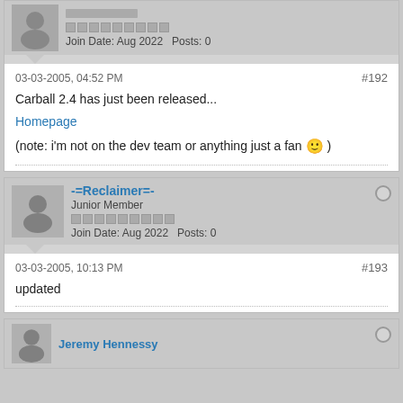[Figure (screenshot): Forum post partial top: avatar placeholder with gray bars, Join Date: Aug 2022, Posts: 0]
03-03-2005, 04:52 PM
#192
Carball 2.4 has just been released...
Homepage
(note: i'm not on the dev team or anything just a fan 🙂 )
[Figure (screenshot): Forum user card: -=Reclaimer=-, Junior Member, rep bar, Join Date: Aug 2022, Posts: 0]
03-03-2005, 10:13 PM
#193
updated
[Figure (screenshot): Partial forum user card at bottom, username partially visible (Jeremy Hennessy)]